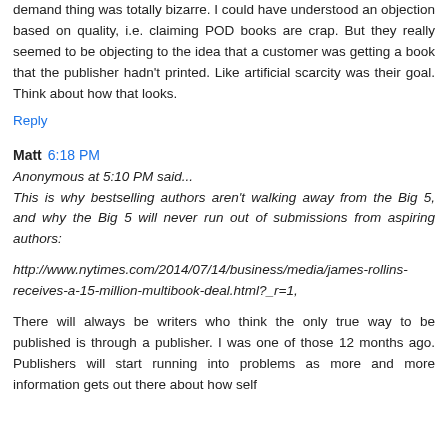demand thing was totally bizarre. I could have understood an objection based on quality, i.e. claiming POD books are crap. But they really seemed to be objecting to the idea that a customer was getting a book that the publisher hadn't printed. Like artificial scarcity was their goal. Think about how that looks.
Reply
Matt 6:18 PM
Anonymous at 5:10 PM said... This is why bestselling authors aren't walking away from the Big 5, and why the Big 5 will never run out of submissions from aspiring authors:
http://www.nytimes.com/2014/07/14/business/media/james-rollins-receives-a-15-million-multibook-deal.html?_r=1,
There will always be writers who think the only true way to be published is through a publisher. I was one of those 12 months ago. Publishers will start running into problems as more and more information gets out there about how self